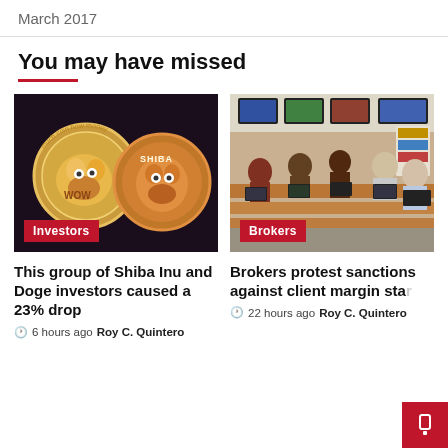March 2017
You may have missed
[Figure (photo): Photo of Dogecoin and Shiba Inu coin (SHIBA) cryptocurrency coins with 'WOW' text on one coin, dark background, with 'Investors' badge overlay]
[Figure (photo): Photo of stock brokers working at computers in a trading office, with 'Brokers' badge overlay]
This group of Shiba Inu and Doge investors caused a 23% drop
🕐 6 hours ago  Roy C. Quintero
Brokers protest sanctions against client margin sta…
🕐 22 hours ago  Roy C. Quintero